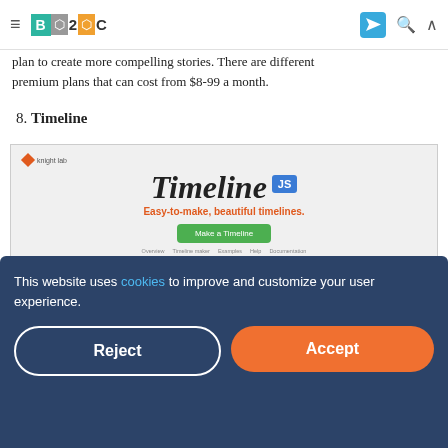B2C — Business 2 Community
plan to create more compelling stories. There are different premium plans that can cost from $8-99 a month.
8. Timeline
[Figure (screenshot): Screenshot of Timeline JS website by Knight Lab. Shows 'Timeline' in large bold italic text with a blue JS badge, tagline 'Easy-to-make, beautiful timelines.' in orange, a green 'Make a Timeline' button, and navigation links.]
This website uses cookies to improve and customize your user experience.